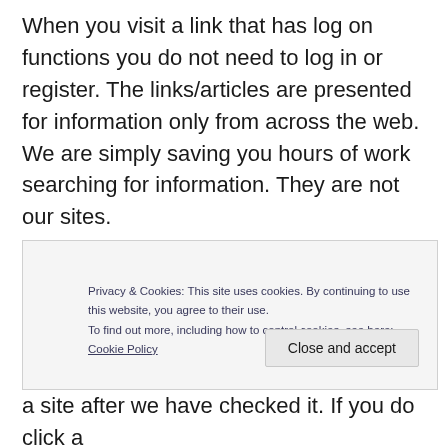When you visit a link that has log on functions you do not need to log in or register. The links/articles are presented for information only from across the web. We are simply saving you hours of work searching for information. They are not our sites.
Privacy & Cookies: This site uses cookies. By continuing to use this website, you agree to their use.
To find out more, including how to control cookies, see here:
Cookie Policy
Close and accept
a site after we have checked it. If you do click a